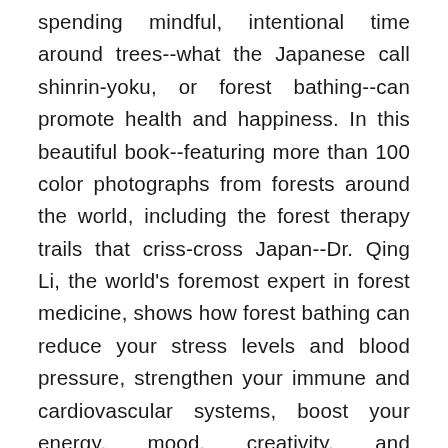spending mindful, intentional time around trees--what the Japanese call shinrin-yoku, or forest bathing--can promote health and happiness. In this beautiful book--featuring more than 100 color photographs from forests around the world, including the forest therapy trails that criss-cross Japan--Dr. Qing Li, the world's foremost expert in forest medicine, shows how forest bathing can reduce your stress levels and blood pressure, strengthen your immune and cardiovascular systems, boost your energy, mood, creativity, and concentration, and even help you lose weight and live longer. Once you've discovered the healing power of trees, you can lose yourself in the beauty of your surroundings, leave everyday stress behind, and reach a place of greater calm